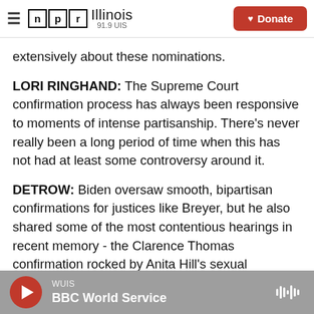NPR Illinois 91.9 UIS | Donate
extensively about these nominations.
LORI RINGHAND: The Supreme Court confirmation process has always been responsive to moments of intense partisanship. There's never really been a long period of time when this has not had at least some controversy around it.
DETROW: Biden oversaw smooth, bipartisan confirmations for justices like Breyer, but he also shared some of the most contentious hearings in recent memory - the Clarence Thomas confirmation rocked by Anita Hill's sexual
WUIS | BBC World Service